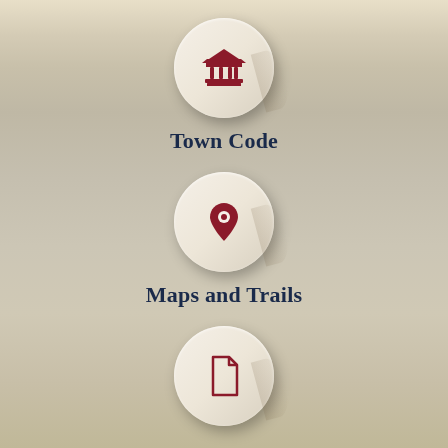[Figure (infographic): Circular button icon with a government/civic building (columns) icon in dark red on a beige/cream circular button with shadow]
Town Code
[Figure (infographic): Circular button icon with a map location pin icon in dark red on a beige/cream circular button with shadow]
Maps and Trails
[Figure (infographic): Circular button icon with a document/page icon in dark red on a beige/cream circular button with shadow]